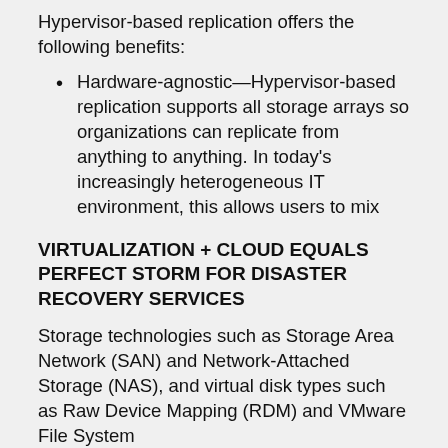Hypervisor-based replication offers the following benefits:
Hardware-agnostic—Hypervisor-based replication supports all storage arrays so organizations can replicate from anything to anything. In today's increasingly heterogeneous IT environment, this allows users to mix
VIRTUALIZATION + CLOUD EQUALS PERFECT STORM FOR DISASTER RECOVERY SERVICES
Storage technologies such as Storage Area Network (SAN) and Network-Attached Storage (NAS), and virtual disk types such as Raw Device Mapping (RDM) and VMware File System